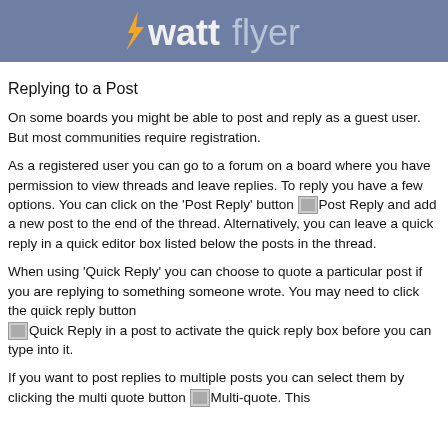wattflyer
Replying to a Post
On some boards you might be able to post and reply as a guest user. But most communities require registration.
As a registered user you can go to a forum on a board where you have permission to view threads and leave replies. To reply you have a few options. You can click on the 'Post Reply' button [Post Reply] and add a new post to the end of the thread. Alternatively, you can leave a quick reply in a quick editor box listed below the posts in the thread.
When using 'Quick Reply' you can choose to quote a particular post if you are replying to something someone wrote. You may need to click the quick reply button [Quick Reply] in a post to activate the quick reply box before you can type into it.
If you want to post replies to multiple posts you can select them by clicking the multi quote button [Multi-quote]. This